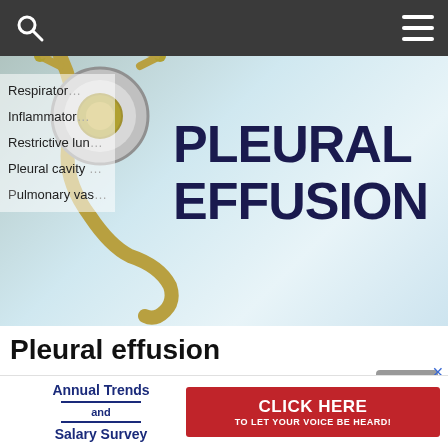Navigation bar with search and menu icons
[Figure (photo): Medical photo showing a stethoscope next to a paper with bold text reading PLEURAL EFFUSION, with a list of medical terms visible on the left side including Respiratory, Inflammatory, Restrictive lung, Pleural cavity, Pulmonary vas]
Pleural effusion
28 Aug at 11:29 am  0
[Figure (infographic): Advertisement banner: Annual Trends and Salary Survey / CLICK HERE TO LET YOUR VOICE BE HEARD!]